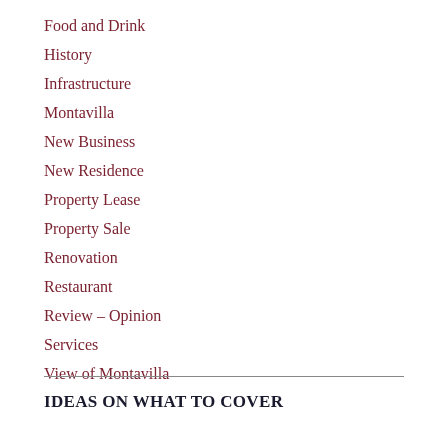Food and Drink
History
Infrastructure
Montavilla
New Business
New Residence
Property Lease
Property Sale
Renovation
Restaurant
Review – Opinion
Services
View of Montavilla
IDEAS ON WHAT TO COVER